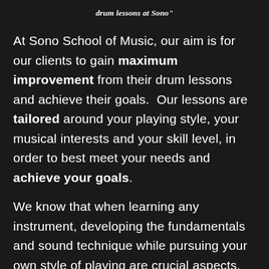drum lessons at Sono"
At Sono School of Music, our aim is for our clients to gain maximum improvement from their drum lessons and achieve their goals.  Our lessons are tailored around your playing style, your musical interests and your skill level, in order to best meet your needs and achieve your goals.
We know that when learning any instrument, developing the fundamentals and sound technique while pursuing your own style of playing are crucial aspects.